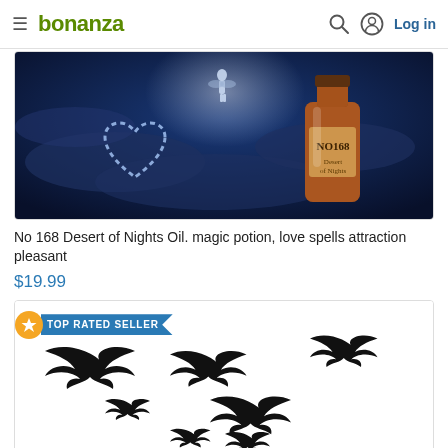bonanza — Log in
[Figure (photo): Product image: amber bottle labeled NO168 against dark mystical night sky background with glowing heart shape and fairy silhouette]
No 168 Desert of Nights Oil. magic potion, love spells attraction pleasant
$19.99
[Figure (photo): Product image: multiple black bat silhouettes flying on white background, Halloween themed decals. TOP RATED SELLER badge visible.]